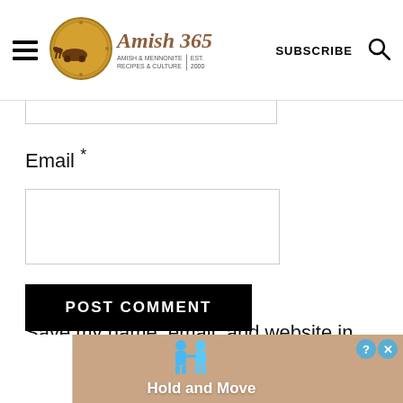Amish 365 — AMISH & MENNONITE RECIPES & CULTURE | EST. 2000 | SUBSCRIBE
Email *
Save my name, email, and website in this browser for the next time I comment.
POST COMMENT
[Figure (screenshot): Ad banner showing two blue cartoon figures with text 'Hold and Move', close buttons with question mark and X icons.]